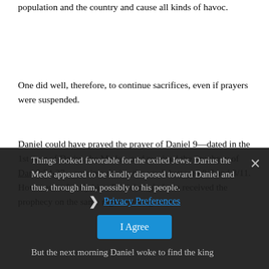population and the country and cause all kinds of havoc.
One did well, therefore, to continue sacrifices, even if prayers were suspended.
Daniel could have prayed the prayer of Daniel 9—dated in the 1st year of Darius the Mede—and received the prophecy of Dan 9:24-27—anytime during the week between 8/4 and 8/11. However, to fortify him, Daniel might have received the prophecy on the same night the king died:
Things looked favorable for the exiled Jews. Darius the Mede appeared to be kindly disposed toward Daniel and thus, through him, possibly to his people.
But the next morning Daniel woke to find the king